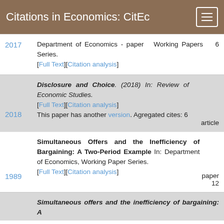Citations in Economics: CitEc
2017 | Department of Economics - paper 6 Working Papers Series. [Full Text][Citation analysis]
2018 | Disclosure and Choice. (2018) In: Review of Economic Studies. [Full Text][Citation analysis] article | This paper has another version. Agregated cites: 6
1989 | Simultaneous Offers and the Inefficiency of Bargaining: A Two-Period Example In: Department of Economics, Working Paper Series. paper 12 [Full Text][Citation analysis]
Simultaneous offers and the inefficiency of bargaining: A (truncated)